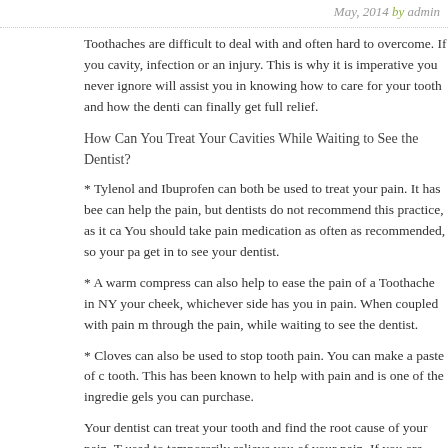May, 2014 by admin
Toothaches are difficult to deal with and often hard to overcome. If you cavity, infection or an injury. This is why it is imperative you never ignore will assist you in knowing how to care for your tooth and how the denti can finally get full relief.
How Can You Treat Your Cavities While Waiting to See the Dentist?
* Tylenol and Ibuprofen can both be used to treat your pain. It has bee can help the pain, but dentists do not recommend this practice, as it ca You should take pain medication as often as recommended, so your pa get in to see your dentist.
* A warm compress can also help to ease the pain of a Toothache in NY your cheek, whichever side has you in pain. When coupled with pain m through the pain, while waiting to see the dentist.
* Cloves can also be used to stop tooth pain. You can make a paste of c tooth. This has been known to help with pain and is one of the ingredie gels you can purchase.
Your dentist can treat your tooth and find the root cause of your pain. T used to temporarily relieve you of your pain. If you are experiencing on receive treatment. The sooner you are seen by the dentist, the less likely damage to your tooth.